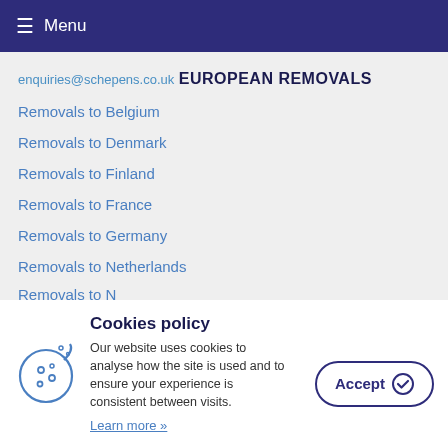≡ Menu
enquiries@schepens.co.uk
EUROPEAN REMOVALS
Removals to Belgium
Removals to Denmark
Removals to Finland
Removals to France
Removals to Germany
Removals to Netherlands
Removals to N...
Cookies policy
Our website uses cookies to analyse how the site is used and to ensure your experience is consistent between visits.
Learn more »